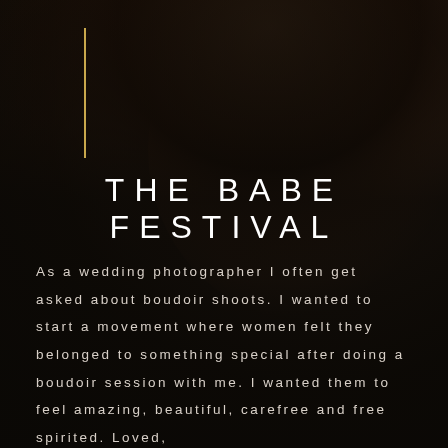[Figure (photo): Dark, moody portrait photo of a smiling woman with dark hair against a dark background. A gold vertical line accent is visible in the upper left area.]
THE BABE FESTIVAL
As a wedding photographer I often get asked about boudoir shoots. I wanted to start a movement where women felt they belonged to something special after doing a boudoir session with me. I wanted them to feel amazing, beautiful, carefree and free spirited. Loved,